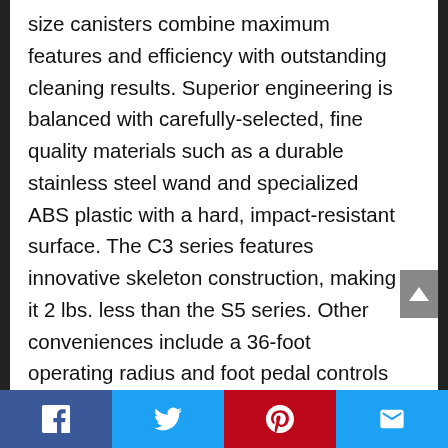size canisters combine maximum features and efficiency with outstanding cleaning results. Superior engineering is balanced with carefully-selected, fine quality materials such as a durable stainless steel wand and specialized ABS plastic with a hard, impact-resistant surface. The C3 series features innovative skeleton construction, making it 2 lbs. less than the S5 series. Other conveniences include a 36-foot operating radius and foot pedal controls for quick and effective cleaning. C3 also features a silence motor to maintain a quiet environment, and an AirClean Sealed System that not only vacuums your floors — but also cleans the
social share bar: Facebook, Twitter, Pinterest, Email